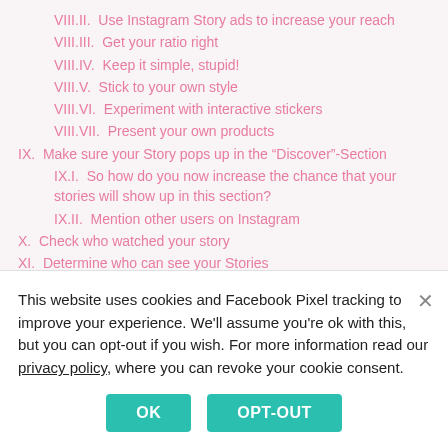VIII.II.  Use Instagram Story ads to increase your reach
VIII.III.  Get your ratio right
VIII.IV.  Keep it simple, stupid!
VIII.V.  Stick to your own style
VIII.VI.  Experiment with interactive stickers
VIII.VII.  Present your own products
IX.  Make sure your Story pops up in the "Discover"-Section
IX.I.  So how do you now increase the chance that your stories will show up in this section?
IX.II.  Mention other users on Instagram
X.  Check who watched your story
XI.  Determine who can see your Stories
This website uses cookies and Facebook Pixel tracking to improve your experience. We'll assume you're ok with this, but you can opt-out if you wish. For more information read our privacy policy, where you can revoke your cookie consent.
OK  OPT-OUT